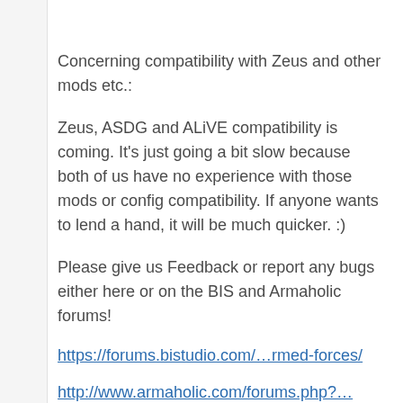Concerning compatibility with Zeus and other mods etc.:
Zeus, ASDG and ALiVE compatibility is coming. It's just going a bit slow because both of us have no experience with those mods or config compatibility. If anyone wants to lend a hand, it will be much quicker. :)
Please give us Feedback or report any bugs either here or on the BIS and Armaholic forums!
https://forums.bistudio.com/…rmed-forces/
http://www.armaholic.com/forums.php?…
1. DESCRIPTION